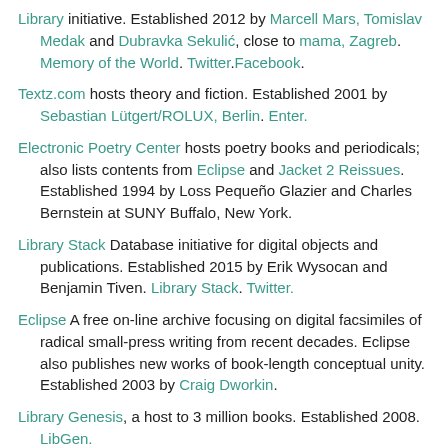Library initiative. Established 2012 by Marcell Mars, Tomislav Medak and Dubravka Sekulić, close to mama, Zagreb. Memory of the World. Twitter.Facebook.
Textz.com hosts theory and fiction. Established 2001 by Sebastian Lütgert/ROLUX, Berlin. Enter.
Electronic Poetry Center hosts poetry books and periodicals; also lists contents from Eclipse and Jacket 2 Reissues. Established 1994 by Loss Pequeño Glazier and Charles Bernstein at SUNY Buffalo, New York.
Library Stack Database initiative for digital objects and publications. Established 2015 by Erik Wysocan and Benjamin Tiven. Library Stack. Twitter.
Eclipse A free on-line archive focusing on digital facsimiles of radical small-press writing from recent decades. Eclipse also publishes new works of book-length conceptual unity. Established 2003 by Craig Dworkin.
Library Genesis, a host to 3 million books. Established 2008. LibGen.
Fragen is a digital library of key texts of second wave of